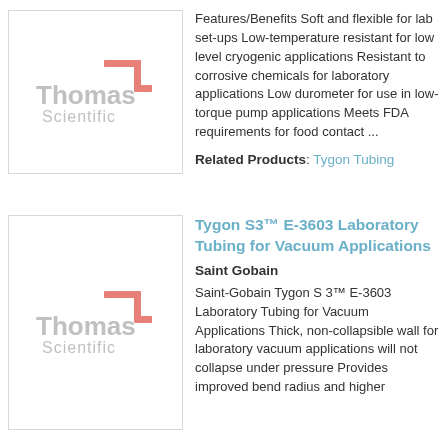[Figure (logo): Thomas Scientific logo (gray) on white background with light gray border]
Features/Benefits Soft and flexible for lab set-ups Low-temperature resistant for low level cryogenic applications Resistant to corrosive chemicals for laboratory applications Low durometer for use in low-torque pump applications Meets FDA requirements for food contact ...
Related Products: Tygon Tubing
[Figure (logo): Thomas Scientific logo (gray) on white background with light gray border]
Tygon S3™ E-3603 Laboratory Tubing for Vacuum Applications
Saint Gobain
Saint-Gobain Tygon S 3™ E-3603 Laboratory Tubing for Vacuum Applications Thick, non-collapsible wall for laboratory vacuum applications will not collapse under pressure Provides improved bend radius and higher